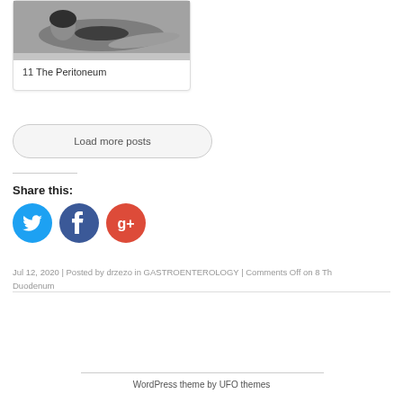[Figure (photo): Black and white photo of a person lying down in a black bikini/swimwear, used as thumbnail for medical post about The Peritoneum]
11 The Peritoneum
Load more posts
Share this:
[Figure (infographic): Social media share icons: Twitter (blue circle), Facebook (dark blue circle), Google+ (red circle)]
Jul 12, 2020 | Posted by drzezo in GASTROENTEROLOGY | Comments Off on 8 Th Duodenum
WordPress theme by UFO themes